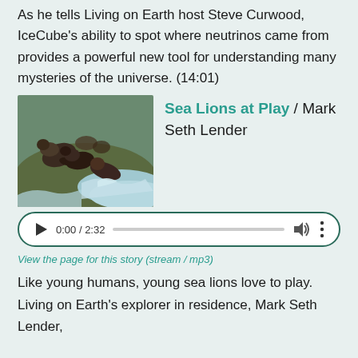As he tells Living on Earth host Steve Curwood, IceCube's ability to spot where neutrinos came from provides a powerful new tool for understanding many mysteries of the universe. (14:01)
[Figure (photo): Photo of sea lions on rocky shore with ocean waves]
Sea Lions at Play / Mark Seth Lender
[Figure (other): Audio player showing 0:00 / 2:32 with play button, progress bar, volume and more icons]
View the page for this story (stream / mp3)
Like young humans, young sea lions love to play. Living on Earth's explorer in residence, Mark Seth Lender,